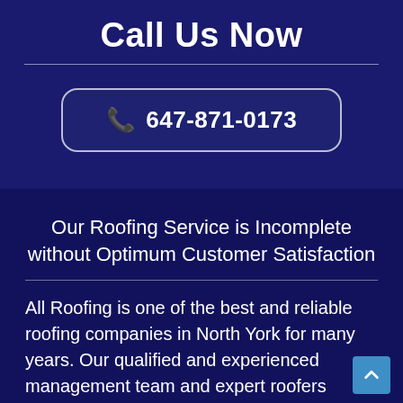Call Us Now
[Figure (other): Phone number button with phone icon showing 647-871-0173]
Our Roofing Service is Incomplete without Optimum Customer Satisfaction
All Roofing is one of the best and reliable roofing companies in North York for many years. Our qualified and experienced management team and expert roofers